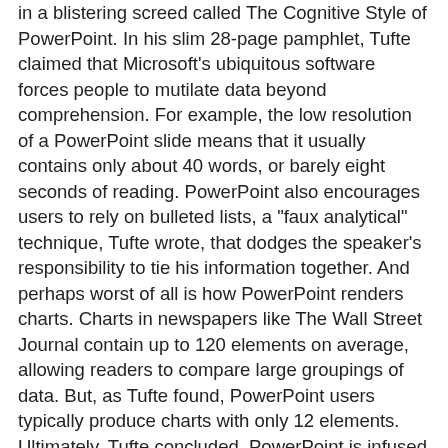in a blistering screed called The Cognitive Style of PowerPoint. In his slim 28-page pamphlet, Tufte claimed that Microsoft's ubiquitous software forces people to mutilate data beyond comprehension. For example, the low resolution of a PowerPoint slide means that it usually contains only about 40 words, or barely eight seconds of reading. PowerPoint also encourages users to rely on bulleted lists, a "faux analytical" technique, Tufte wrote, that dodges the speaker's responsibility to tie his information together. And perhaps worst of all is how PowerPoint renders charts. Charts in newspapers like The Wall Street Journal contain up to 120 elements on average, allowing readers to compare large groupings of data. But, as Tufte found, PowerPoint users typically produce charts with only 12 elements. Ultimately, Tufte concluded, PowerPoint is infused with "an attitude of commercialism that turns everything into a sales pitch."
Microsoft officials, of course, beg to differ. Simon Marks, the product manager for PowerPoint, counters that Tufte is a fan of "information density," shoving tons of data at an audience. You could do that with PowerPoint, he says, but it's a matter of choice. "If people were told they were going to have to sit through an incredibly dense presentation," he adds, "they wouldn't want it." And PowerPoint still has fans in the highest corridors of power: Colin Powell used a slideware presentation in February when he made his case